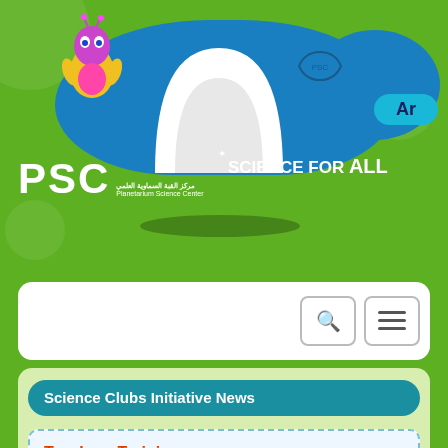[Figure (logo): PSC Planetarium Science Center logo with mascot character, white arch/dome, blue clouds, and 'SCIENCE FOR ALL' text on green background with 'Ar' language toggle button]
[Figure (screenshot): Navigation bar with search icon and hamburger menu icon buttons]
Science Clubs Initiative News
Teachers Training
📅 25 February 2016
This teacher training course is designed to support and promote quality of science activities by building professional capacities, help the teachers acquire the skills to create a Science Clubs in the schools.